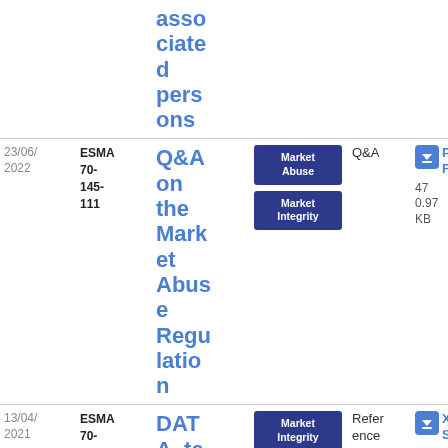| Date | Reference | Title | Tags | Type | Download |
| --- | --- | --- | --- | --- | --- |
|  |  | asso
ciated
persons |  |  |  |
| 23/06/
2022 | ESMA
70-
145-
111 | Q&A on the Market Abuse Regulation | Market Abuse | Market Integrity | Q&A | PDF
470.97 KB |
| 13/04/
2021 | ESMA
70-
145-
1395 | DATA_templates TRs | Market Integrity | Post Trading | Reference | XLSX
53.23 KB |